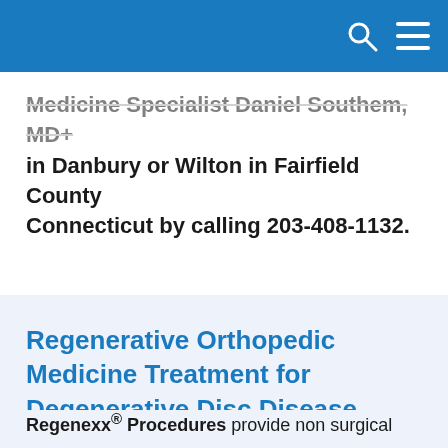Medicine Specialist Daniel Southem, MD+ in Danbury or Wilton in Fairfield County Connecticut by calling 203-408-1132.
Regenerative Orthopedic Medicine Treatment for Degenerative Disc Disease
Regenexx® Procedures provide non surgical